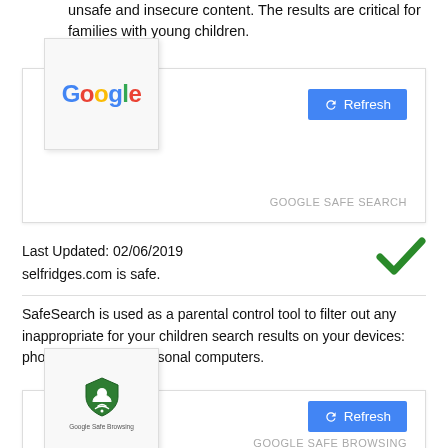unsafe and insecure content. The results are critical for families with young children.
[Figure (logo): Google logo (coloured wordmark)]
[Figure (screenshot): Google Safe Search widget with Refresh button and label GOOGLE SAFE SEARCH]
Last Updated: 02/06/2019
selfridges.com is safe.
SafeSearch is used as a parental control tool to filter out any inappropriate for your children search results on your devices: phones, tablets or personal computers.
[Figure (logo): Google Safe Browsing logo with shield icon]
[Figure (screenshot): Google Safe Browsing widget with Refresh button and label GOOGLE SAFE BROWSING]